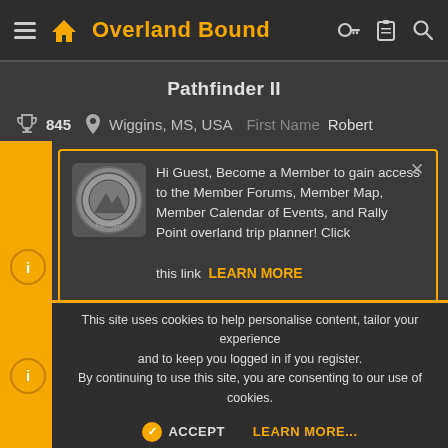Overland Bound
Pathfinder II
845  Wiggins, MS, USA  First Name  Robert
Hi Guest, Become a Member to gain access to the Member Forums, Member Map, Member Calendar of Events, and Rally Point overland trip planner! Click this link LEARN MORE for more information!
Ja  #39,947
This site uses cookies to help personalise content, tailor your experience and to keep you logged in if you register. By continuing to use this site, you are consenting to our use of cookies.
ACCEPT  LEARN MORE...